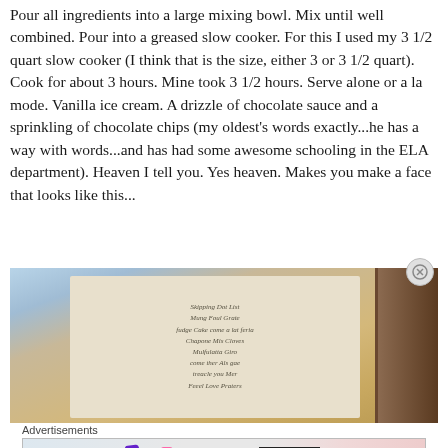Pour all ingredients into a large mixing bowl. Mix until well combined. Pour into a greased slow cooker. For this I used my 3 1/2 quart slow cooker (I think that is the size, either 3 or 3 1/2 quart). Cook for about 3 hours. Mine took 3 1/2 hours. Serve alone or a la mode. Vanilla ice cream. A drizzle of chocolate sauce and a sprinkling of chocolate chips (my oldest's words exactly...he has a way with words...and has had some awesome schooling in the ELA department). Heaven I tell you. Yes heaven. Makes you make a face that looks like this...
[Figure (photo): A close-up photo of a handwritten or printed recipe card with cursive text, partially visible, placed on a surface with a picture frame visible in the background to the right.]
Advertisements
[Figure (photo): MAC Cosmetics advertisement showing lipsticks in purple, pink, and red colors with MAC logo and SHOP NOW button.]